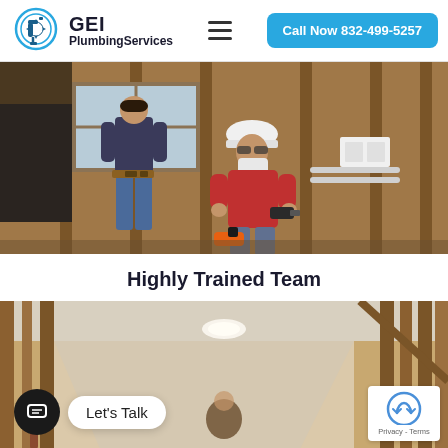GEI PlumbingServices | Call Now 832-499-5257
[Figure (photo): Two construction workers inside a building under renovation. One worker standing on scaffolding near a window working on wood framing, wearing jeans and a tool belt. Another worker in a red shirt and white hard hat with a face mask using a tool on the wall framing. Exposed wood studs and black underlayment visible.]
Highly Trained Team
[Figure (photo): Interior of a building under construction showing exposed wood stud framing in a hallway or corridor. A person is visible in the background. A chat widget showing 'Let's Talk' and a reCAPTCHA badge with 'Privacy - Terms' are overlaid on the image.]